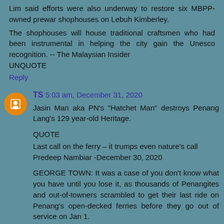Lim said efforts were also underway to restore six MBPP-owned prewar shophouses on Lebuh Kimberley.
The shophouses will house traditional craftsmen who had been instrumental in helping the city gain the Unesco recognition. -- The Malaysian Insider
UNQUOTE
Reply
TS 5:03 am, December 31, 2020
Jasin Man aka PN's "Hatchet Man" destroys Penang Lang's 129 year-old Heritage.
QUOTE
Last call on the ferry – it trumps even nature's call
Predeep Nambiar -December 30, 2020
GEORGE TOWN: It was a case of you don't know what you have until you lose it, as thousands of Penangites and out-of-towners scrambled to get their last ride on Penang's open-decked ferries before they go out of service on Jan 1.